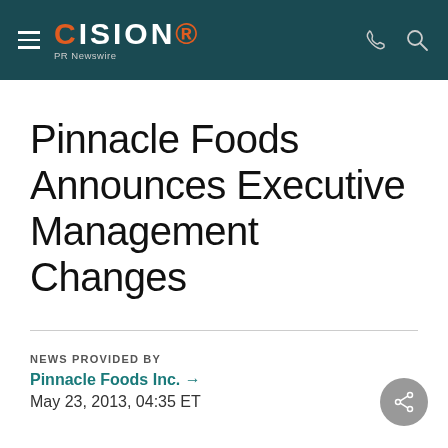CISION PR Newswire
Pinnacle Foods Announces Executive Management Changes
NEWS PROVIDED BY
Pinnacle Foods Inc. →
May 23, 2013, 04:35 ET